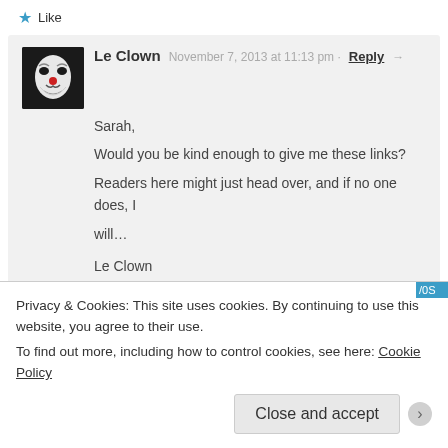★ Like
Le Clown  November 7, 2013 at 11:13 pm · Reply →
Sarah,
Would you be kind enough to give me these links?
Readers here might just head over, and if no one does, I will…
Le Clown
★ Like
saaahrie  November 8, 2013 at 12:13 am · ··
Sure thing! Here you go:
Privacy & Cookies: This site uses cookies. By continuing to use this website, you agree to their use.
To find out more, including how to control cookies, see here: Cookie Policy
Close and accept